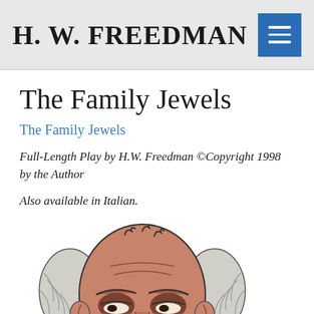H. W. FREEDMAN
The Family Jewels
The Family Jewels
Full-Length Play by H.W. Freedman ©Copyright 1998 by the Author
Also available in Italian.
[Figure (illustration): Cartoon illustration of an elderly bald man with white hair on the sides, heavy-lidded eyes, and a drooping, wrinkled face, shown from approximately the shoulders up, with a skeptical or tired expression.]